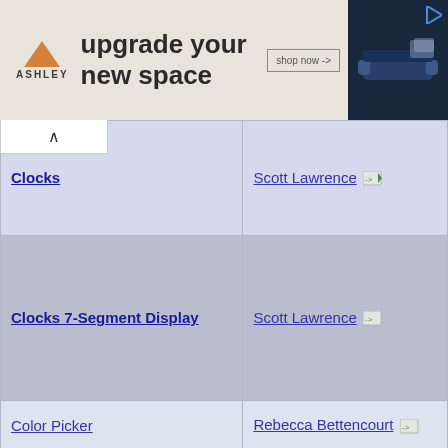[Figure (photo): Ashley Furniture advertisement banner: orange triangle logo, 'upgrade your new space' text, 'shop now ->' button, dark blue sofa image on right]
| Category | Author |
| --- | --- |
| Clocks | Scott Lawrence -> |
| Clocks 7-Segment Display | Scott Lawrence -> |
| Color Picker | Rebecca Bettencourt -> |
| Connect 4 | Armon Khosravi -> |
| Contacts | Kevin Wojniak -> |
| Counter | Blah3 -> |